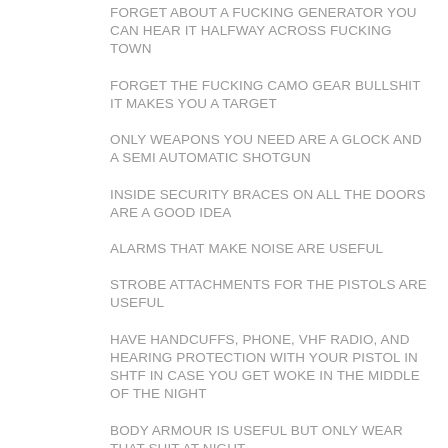FORGET ABOUT A FUCKING GENERATOR YOU CAN HEAR IT HALFWAY ACROSS FUCKING TOWN
FORGET THE FUCKING CAMO GEAR BULLSHIT IT MAKES YOU A TARGET
ONLY WEAPONS YOU NEED ARE A GLOCK AND A SEMI AUTOMATIC SHOTGUN
INSIDE SECURITY BRACES ON ALL THE DOORS ARE A GOOD IDEA
ALARMS THAT MAKE NOISE ARE USEFUL
STROBE ATTACHMENTS FOR THE PISTOLS ARE USEFUL
HAVE HANDCUFFS, PHONE, VHF RADIO, AND HEARING PROTECTION WITH YOUR PISTOL IN SHTF IN CASE YOU GET WOKE IN THE MIDDLE OF THE NIGHT
BODY ARMOUR IS USEFUL BUT ONLY WEAR THAT SHIT AT NIGHT